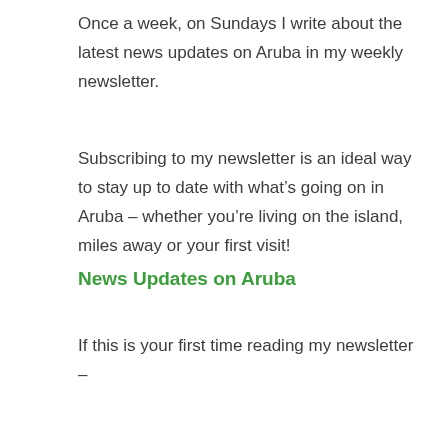Once a week, on Sundays I write about the latest news updates on Aruba in my weekly newsletter.
Subscribing to my newsletter is an ideal way to stay up to date with what's going on in Aruba – whether you're living on the island, miles away or your first visit!
News Updates on Aruba
If this is your first time reading my newsletter –